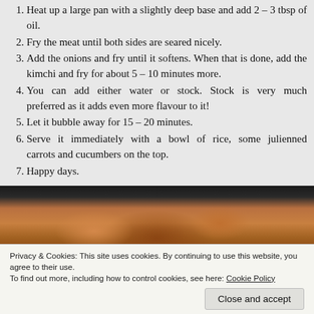1. Heat up a large pan with a slightly deep base and add 2 – 3 tbsp of oil.
2. Fry the meat until both sides are seared nicely.
3. Add the onions and fry until it softens. When that is done, add the kimchi and fry for about 5 – 10 minutes more.
4. You can add either water or stock. Stock is very much preferred as it adds even more flavour to it!
5. Let it bubble away for 15 – 20 minutes.
6. Serve it immediately with a bowl of rice, some julienned carrots and cucumbers on the top.
7. Happy days.
[Figure (photo): Photo of meat cooking in a pan with orange-red sauce, viewed from above, partial crop]
Privacy & Cookies: This site uses cookies. By continuing to use this website, you agree to their use. To find out more, including how to control cookies, see here: Cookie Policy
Close and accept